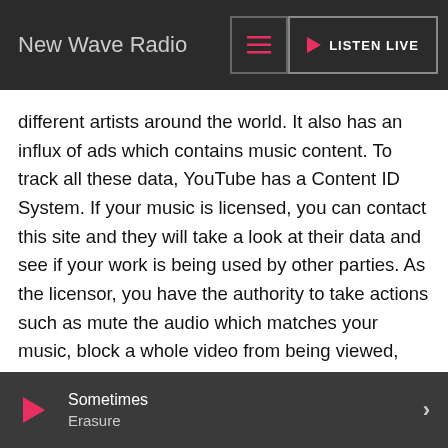New Wave Radio | LISTEN LIVE
different artists around the world. It also has an influx of ads which contains music content. To track all these data, YouTube has a Content ID System. If your music is licensed, you can contact this site and they will take a look at their data and see if your work is being used by other parties. As the licensor, you have the authority to take actions such as mute the audio which matches your music, block a whole video from being viewed, track the video's viewership statistics or monetize the video by running ads against it. Every country has different rules about it. But YouTube runs a lot of ads and monetizing work from this site is very probable.
If you are an independent musician, you must improve and instill professionalism in your craft to get your chances up of being signed by a music licensing company. With billions of
Sometimes Erasure